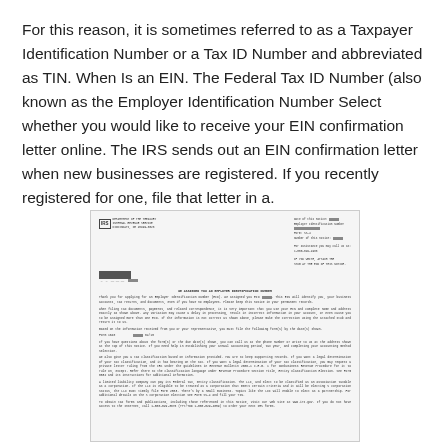For this reason, it is sometimes referred to as a Taxpayer Identification Number or a Tax ID Number and abbreviated as TIN. When Is an EIN. The Federal Tax ID Number (also known as the Employer Identification Number Select whether you would like to receive your EIN confirmation letter online. The IRS sends out an EIN confirmation letter when new businesses are registered. If you recently registered for one, file that letter in a.
[Figure (other): A scanned IRS EIN confirmation letter (CP575) with redacted personal information including the Employer Identification Number and recipient address details. The letter contains the IRS logo and address at the top, reference numbers on the right, a body with instructions about the EIN, and multiple paragraphs of text.]